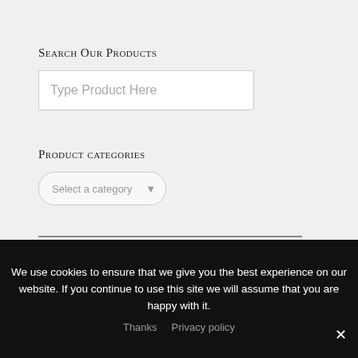Search Our Products
Type Product Here
Product categories
Select a category
[Figure (infographic): Free Delivery on All Orders banner with delicatessen logo and delivery van graphic]
We use cookies to ensure that we give you the best experience on our website. If you continue to use this site we will assume that you are happy with it.
Thanks   Privacy policy